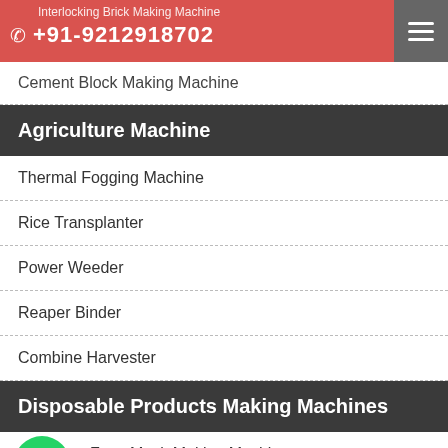Interlocking Brick Making Machine | +91-9212918702
Cement Block Making Machine
Agriculture Machine
Thermal Fogging Machine
Rice Transplanter
Power Weeder
Reaper Binder
Combine Harvester
Disposable Products Making Machines
Face Mask Making Machine
Sanitary Napkin Making Machine
Adult Diaper Making Machine
Non Woven Shoe Cover Making Machine
Bouffant Cap Making Machine